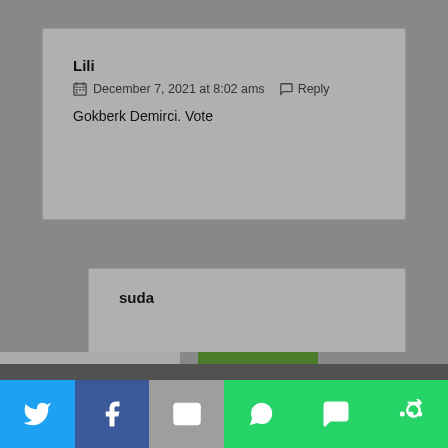Lili
December 7, 2021 at 8:02 ams   Reply
Gokberk Demirci. Vote
suda
We use cookies on our website to give you the most relevant experience by remembering your preferences and repeat visits. By clicking "Accept All", you consent to the use of ALL the cookies. However, you may visit "Cookie Settings" to provide a controlled consent.